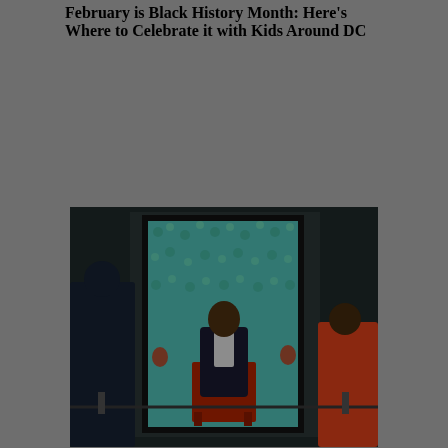February is Black History Month: Here's Where to Celebrate it with Kids Around DC
[Figure (photo): Two children looking at a portrait painting (likely Obama's official portrait by Kehinde Wiley) in a museum, with a rope barrier in the foreground. The painting shows a man in a dark suit seated on a red chair against a floral green/teal background. The scene is dimly lit.]